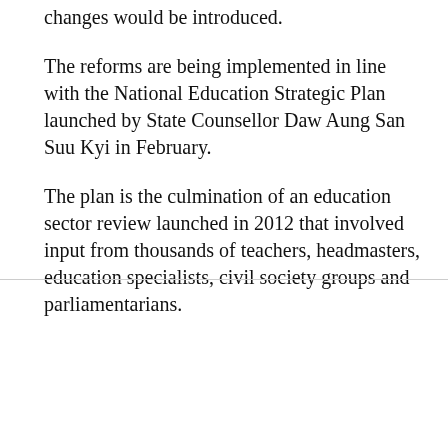changes would be introduced.
The reforms are being implemented in line with the National Education Strategic Plan launched by State Counsellor Daw Aung San Suu Kyi in February.
The plan is the culmination of an education sector review launched in 2012 that involved input from thousands of teachers, headmasters, education specialists, civil society groups and parliamentarians.